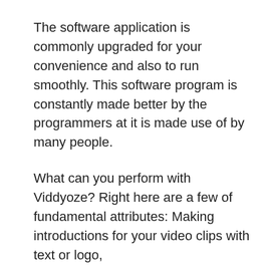The software application is commonly upgraded for your convenience and also to run smoothly. This software program is constantly made better by the programmers at it is made use of by many people.
What can you perform with Viddyoze? Right here are a few of fundamental attributes: Making introductions for your video clips with text or logo, Putting outro video clips with Call-To-Action switch, message or logo, Creating glamorous shifts for even more enticing videos. Adding overlay of videos with transparency. Creating computer animated videos for marketing tales. Clickable computer animations right inside the